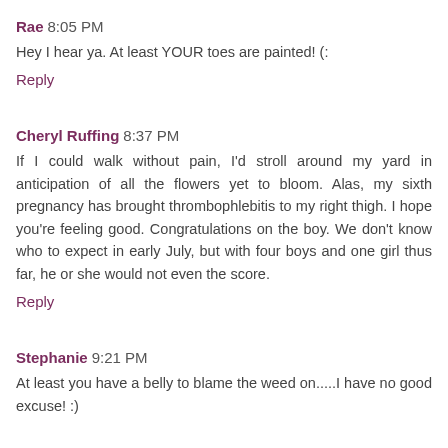Rae 8:05 PM
Hey I hear ya. At least YOUR toes are painted! (:
Reply
Cheryl Ruffing 8:37 PM
If I could walk without pain, I'd stroll around my yard in anticipation of all the flowers yet to bloom. Alas, my sixth pregnancy has brought thrombophlebitis to my right thigh. I hope you're feeling good. Congratulations on the boy. We don't know who to expect in early July, but with four boys and one girl thus far, he or she would not even the score.
Reply
Stephanie 9:21 PM
At least you have a belly to blame the weed on.....I have no good excuse! :)